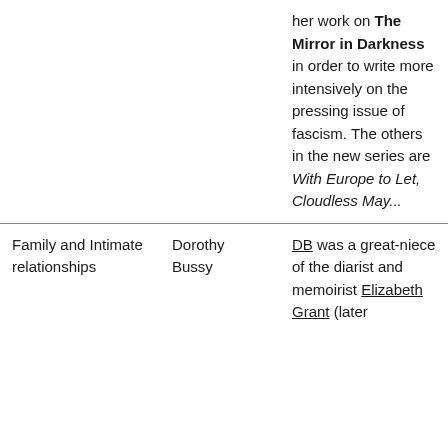her work on The Mirror in Darkness in order to write more intensively on the pressing issue of fascism. The others in the new series are With Europe to Let, Cloudless May...
Family and Intimate relationships
Dorothy Bussy
DB was a great-niece of the diarist and memoirist Elizabeth Grant (later...